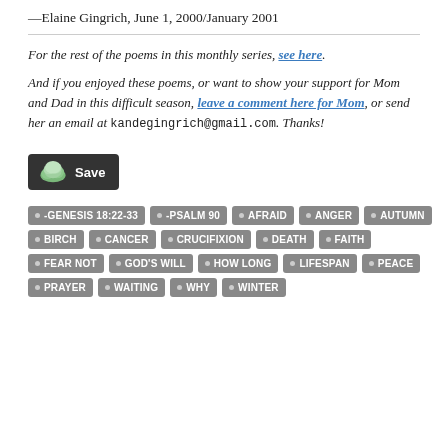—Elaine Gingrich, June 1, 2000/January 2001
For the rest of the poems in this monthly series, see here.
And if you enjoyed these poems, or want to show your support for Mom and Dad in this difficult season, leave a comment here for Mom, or send her an email at kandegingrich@gmail.com. Thanks!
[Figure (other): Save button with cloud icon]
-GENESIS 18:22-33
-PSALM 90
AFRAID
ANGER
AUTUMN
BIRCH
CANCER
CRUCIFIXION
DEATH
FAITH
FEAR NOT
GOD'S WILL
HOW LONG
LIFESPAN
PEACE
PRAYER
WAITING
WHY
WINTER